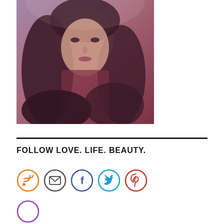[Figure (photo): Portrait photo of a young woman with long dark curly hair, styled with a purple/red tint filter, looking directly at the camera.]
FOLLOW LOVE. LIFE. BEAUTY.
[Figure (infographic): Row of five social media icon circles: RSS (orange), Email (dark grey), Facebook (dark blue), Twitter (light blue), Pinterest (red). A partial sixth circle is visible at the bottom.]